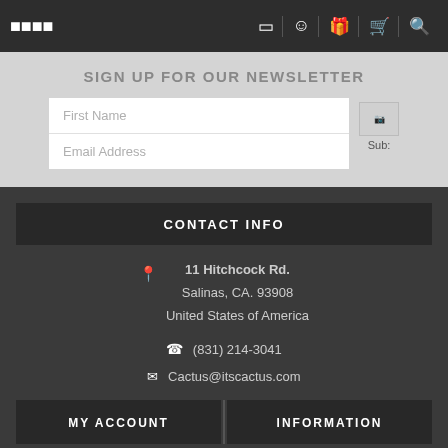Navigation bar with menu, account, gifts, cart, search icons
SIGN UP FOR OUR NEWSLETTER
First Name
Email Address
Sub:
CONTACT INFO
11 Hitchcock Rd.
Salinas, CA. 93908
United States of America
(831) 214-3041
Cactus@itscactus.com
MY ACCOUNT
INFORMATION
My Account